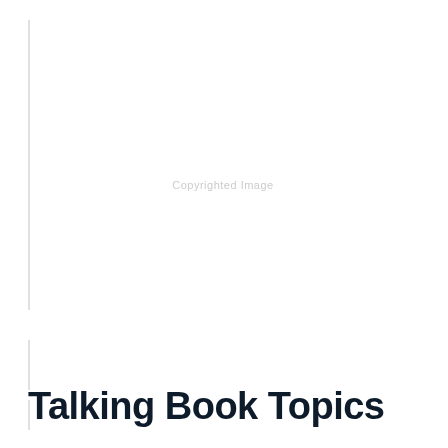[Figure (other): Copyrighted image placeholder — white/blank image area with centered 'Copyrighted Image' watermark text and left-side spine/binding marks]
Talking Book Topics